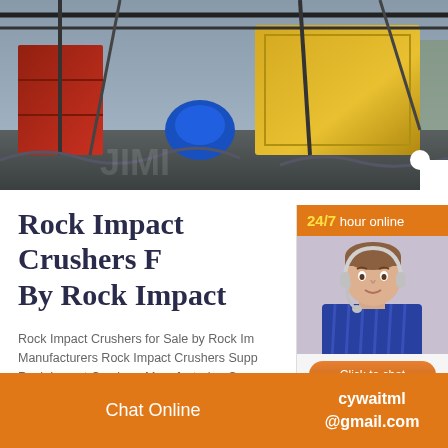[Figure (photo): Industrial rock crushing machinery at a quarry or construction site, showing yellow containers, metal framework/cranes, and blue motor equipment against an outdoor background.]
Rock Impact Crushers For Sale By Rock Impact
Rock Impact Crushers for Sale by Rock Impact Manufacturers Rock Impact Crushers Suppliers Rock Impact Crushers Manufacturing Com...
[Figure (other): 24/7 hour online chat widget with a photo of a female customer service representative wearing a headset, and a Click to chat button, plus an Enquiry section below.]
Chat Online   cywaitml @gmail.com